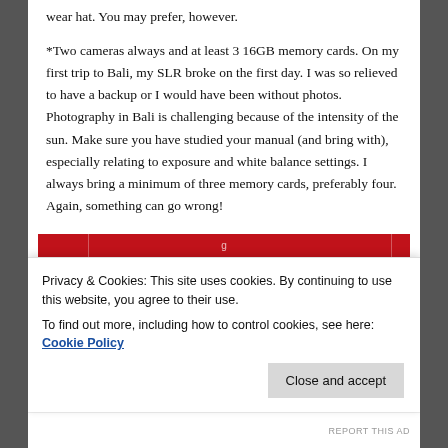wear hat. You may prefer, however.
*Two cameras always and at least 3 16GB memory cards. On my first trip to Bali, my SLR broke on the first day. I was so relieved to have a backup or I would have been without photos. Photography in Bali is challenging because of the intensity of the sun. Make sure you have studied your manual (and bring with), especially relating to exposure and white balance settings. I always bring a minimum of three memory cards, preferably four. Again, something can go wrong!
[Figure (other): Red book banner with 'Start reading' button in center]
Privacy & Cookies: This site uses cookies. By continuing to use this website, you agree to their use.
To find out more, including how to control cookies, see here: Cookie Policy
REPORT THIS AD